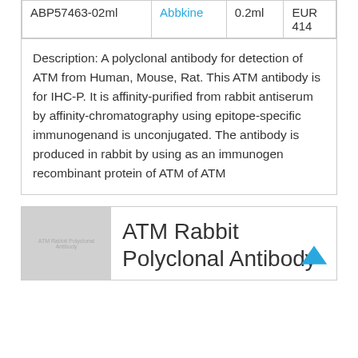| ABP57463-02ml | Abbkine | 0.2ml | EUR
414 |
Description: A polyclonal antibody for detection of ATM from Human, Mouse, Rat. This ATM antibody is for IHC-P. It is affinity-purified from rabbit antiserum by affinity-chromatography using epitope-specific immunogenand is unconjugated. The antibody is produced in rabbit by using as an immunogen recombinant protein of ATM of ATM
[Figure (photo): Product thumbnail image placeholder showing 'ATM Rabbit Polyclonal Antibody' text on grey background]
ATM Rabbit Polyclonal Antibody